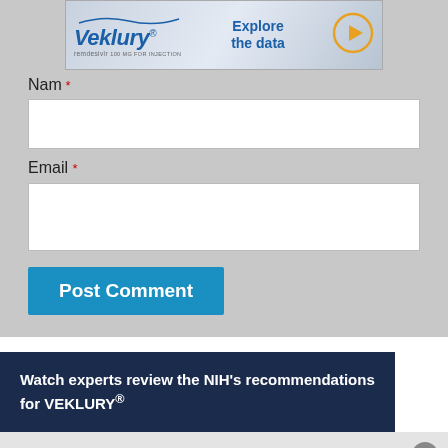[Figure (other): Veklury (remdesivir) advertisement banner with logo and 'Explore the data' call to action with arrow button]
Nam *
Email *
Post Comment
[Figure (other): Dark navy banner with text: Watch experts review the NIH's recommendations for VEKLURY®]
This website stores data such as cookies to enable essential site functionality, as well as marketing, personalization, and analytics. By remaining on this website you indicate your consent. Privacy Policy